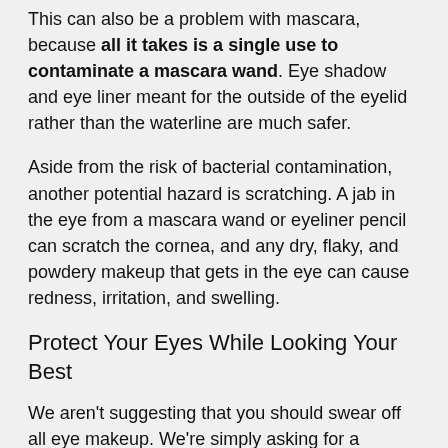This can also be a problem with mascara, because all it takes is a single use to contaminate a mascara wand. Eye shadow and eye liner meant for the outside of the eyelid rather than the waterline are much safer.
Aside from the risk of bacterial contamination, another potential hazard is scratching. A jab in the eye from a mascara wand or eyeliner pencil can scratch the cornea, and any dry, flaky, and powdery makeup that gets in the eye can cause redness, irritation, and swelling.
Protect Your Eyes While Looking Your Best
We aren't suggesting that you should swear off all eye makeup. We're simply asking for a reasonable level of caution, because our eyes are very vulnerable. Follow these tips to minimize any safety concerns with your eye makeup: